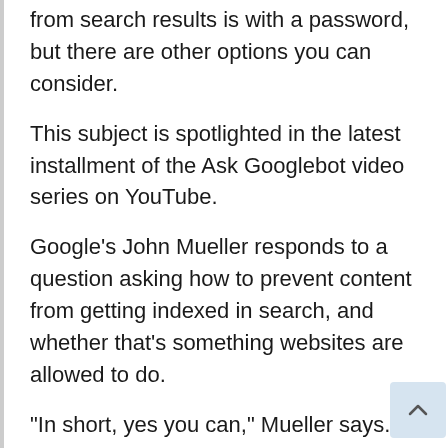from search results is with a password, but there are other options you can consider.
This subject is spotlighted in the latest installment of the Ask Googlebot video series on YouTube.
Google’s John Mueller responds to a question asking how to prevent content from getting indexed in search, and whether that’s something websites are allowed to do.
“In short, yes you can,” Mueller says.
There are three ways to hide a website from search results:
Use a password
Block crawling…